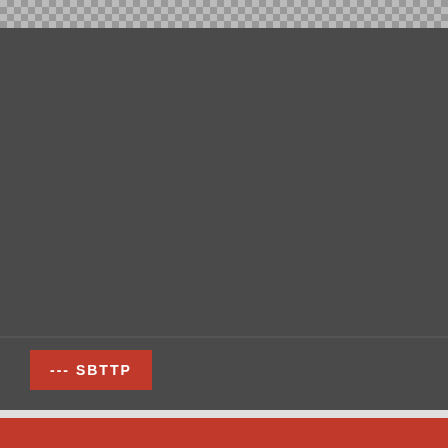[Figure (screenshot): Checkered gray/light gray pattern strip at top of page, representing a transparent area]
[Figure (screenshot): Large dark gray header area, empty]
--- SBTTP
SBTTP
Home / SBTTP